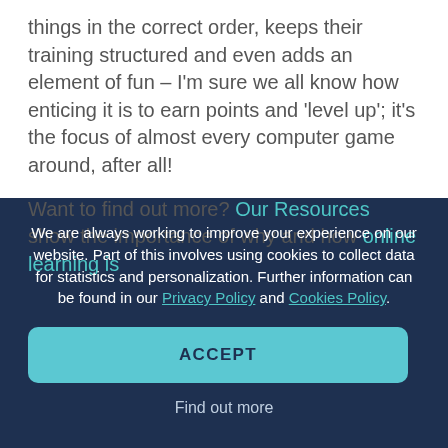things in the correct order, keeps their training structured and even adds an element of fun – I'm sure we all know how enticing it is to earn points and 'level up'; it's the focus of almost every computer game around, after all!
Want to find out more? Our Resources show the importance of why and how online learning is
We are always working to improve your experience on our website. Part of this involves using cookies to collect data for statistics and personalization. Further information can be found in our Privacy Policy and Cookies Policy.
ACCEPT
Find out more